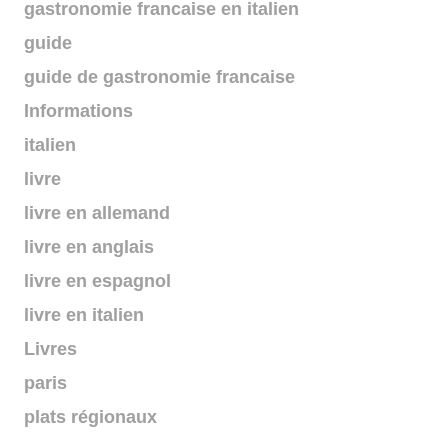gastronomie francaise en italien
guide
guide de gastronomie francaise
Informations
italien
livre
livre en allemand
livre en anglais
livre en espagnol
livre en italien
Livres
paris
plats régionaux